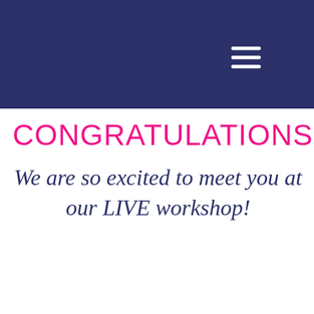CONGRATULATIONS
We are so excited to meet you at our LIVE workshop!